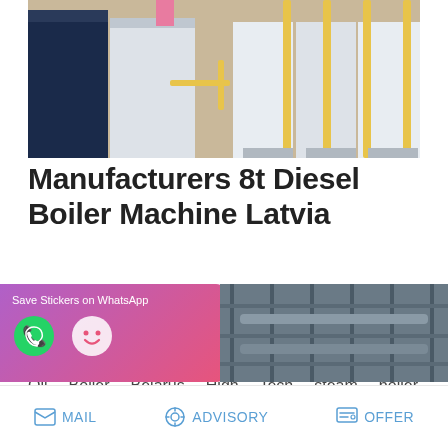[Figure (photo): Industrial boilers lined up in a facility — dark blue and white units with yellow gas pipes on the right]
Manufacturers 8t Diesel Boiler Machine Latvia
Condensing Boiler Best Selling 2t Belarus. Condensing Boiler 6t Agent Belarus Industrial 20t Oil Boiler Machine Price Belarus. Industrial Seller 20 Ton Oil Boiler Belarus High Tech steam boiler manufacturers Of Indust…
READ MORE
[Figure (infographic): WhatsApp sticker save banner with purple-to-pink gradient background, phone and emoji icons]
[Figure (photo): Industrial facility scaffolding and pipes, partially visible]
MAIL   ADVISORY   OFFER